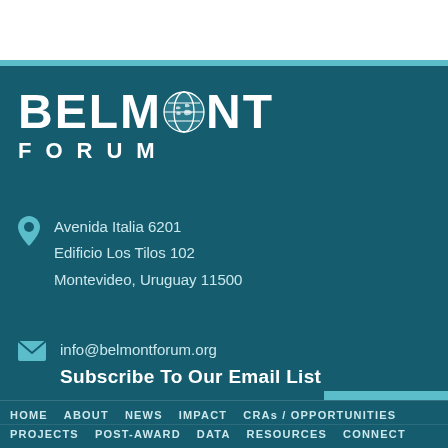[Figure (logo): Belmont Forum logo with globe icon replacing the O in BELMONT, and FORUM text below]
Avenida Italia 6201
Edificio Los Tilos 102
Montevideo, Uruguay 11500
info@belmontforum.org
Subscribe To Our Email List
Subscribe
HOME   ABOUT   NEWS   IMPACT   CRAs / OPPORTUNITIES
PROJECTS   POST-AWARD   DATA   RESOURCES   CONNECT